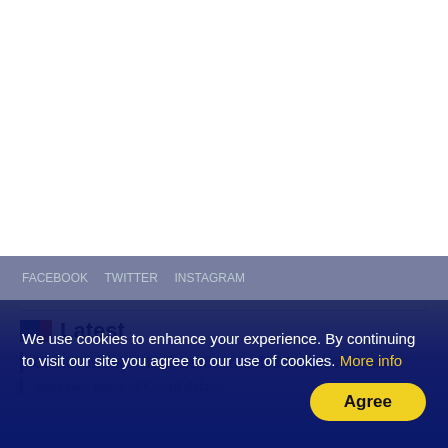Latest
China resumes visa ban for stranded Indian students
over two years of Covid delay
We use cookies to enhance your experience. By continuing to visit our site you agree to our use of cookies. More info